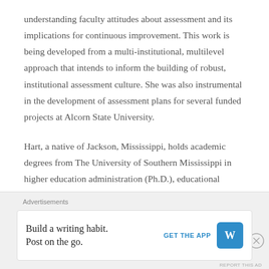understanding faculty attitudes about assessment and its implications for continuous improvement. This work is being developed from a multi-institutional, multilevel approach that intends to inform the building of robust, institutional assessment culture. She was also instrumental in the development of assessment plans for several funded projects at Alcorn State University.
Hart, a native of Jackson, Mississippi, holds academic degrees from The University of Southern Mississippi in higher education administration (Ph.D.), educational research (Ed.S), and exercise science (B.S.). She received
Advertisements
Build a writing habit. Post on the go. GET THE APP